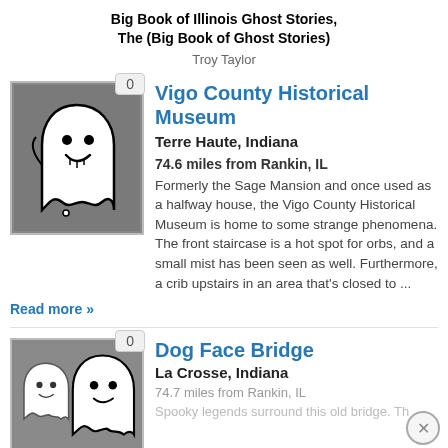Big Book of Illinois Ghost Stories, The (Big Book of Ghost Stories)
Troy Taylor
Vigo County Historical Museum
Terre Haute, Indiana
74.6 miles from Rankin, IL
Formerly the Sage Mansion and once used as a halfway house, the Vigo County Historical Museum is home to some strange phenomena. The front staircase is a hot spot for orbs, and a small mist has been seen as well. Furthermore, a crib upstairs in an area that's closed to ...
Read more »
Dog Face Bridge
La Crosse, Indiana
74.7 miles from Rankin, IL
Spooky legends surround this old bridge. Th